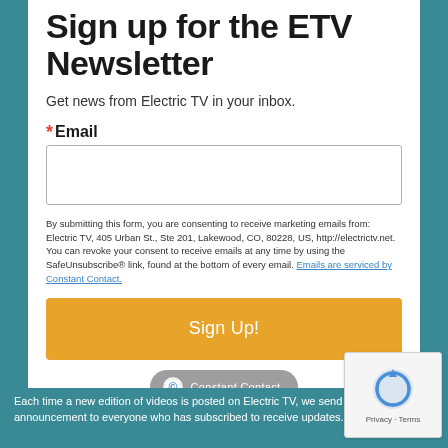Sign up for the ETV Newsletter
Get news from Electric TV in your inbox.
* Email
By submitting this form, you are consenting to receive marketing emails from: Electric TV, 405 Urban St., Ste 201, Lakewood, CO, 80228, US, http://electrictv.net. You can revoke your consent to receive emails at any time by using the SafeUnsubscribe® link, found at the bottom of every email. Emails are serviced by Constant Contact.
Sign Up!
[Figure (logo): Constant Contact badge with icon and text]
[Figure (logo): reCAPTCHA widget with Privacy and Terms]
Each time a new edition of videos is posted on Electric TV, we send out an announcement to everyone who has subscribed to receive updates.